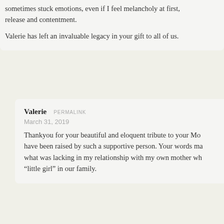sometimes stuck emotions, even if I feel melancholy at first, release and contentment.
Valerie has left an invaluable legacy in your gift to all of us.
Valerie  PERMALINK
March 31, 2019
Thankyou for your beautiful and eloquent tribute to your Mo have been raised by such a supportive person. Your words ma what was lacking in my relationship with my own mother wh “little girl” in our family.
Pauline Taylor  PERMALINK
March 31, 2019
I always think of the saying that I came across after my moth today; ‘never say in grief she is no more but only say in than my feelings today so very well. I do miss my mother but I ne in any way whatsoever which is sad, she could indeed be ver